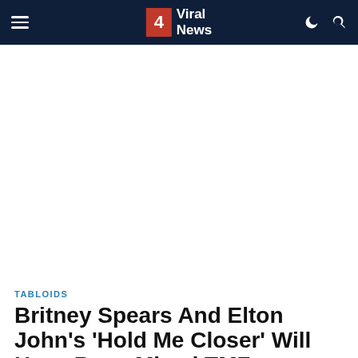4 Viral News
[Figure (other): Advertisement or blank content area]
TABLOIDS
Britney Spears And Elton John’s ‘Hold Me Closer’ Will Have Been Mixed TMZ